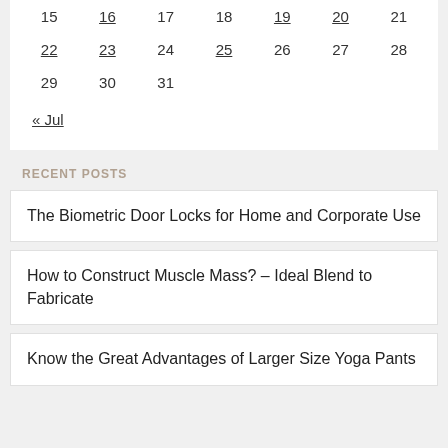| 15 | 16 | 17 | 18 | 19 | 20 | 21 |
| 22 | 23 | 24 | 25 | 26 | 27 | 28 |
| 29 | 30 | 31 |  |  |  |  |
« Jul
RECENT POSTS
The Biometric Door Locks for Home and Corporate Use
How to Construct Muscle Mass? – Ideal Blend to Fabricate
Know the Great Advantages of Larger Size Yoga Pants